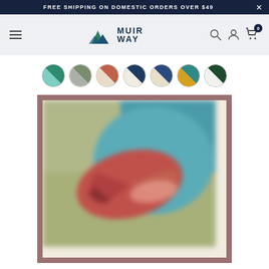FREE SHIPPING ON DOMESTIC ORDERS OVER $49
[Figure (logo): Muir Way logo with mountain icon and text]
[Figure (infographic): Seven color swatches in circles: teal/mint, olive/gray, terracotta/beige, navy/cream, navy/beige, teal/gold, dark green/white]
[Figure (photo): Blurred product art print in a brown/mauve frame showing a stylized bird (likely a trout or fish) in terracotta/red tones against a teal and olive green background]